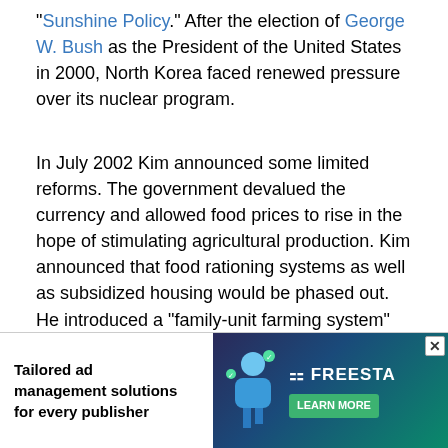"Sunshine Policy." After the election of George W. Bush as the President of the United States in 2000, North Korea faced renewed pressure over its nuclear program.
In July 2002 Kim announced some limited reforms. The government devalued the currency and allowed food prices to rise in the hope of stimulating agricultural production. Kim announced that food rationing systems as well as subsidized housing would be phased out. He introduced a "family-unit farming system" on a trial basis for the first time since collectivization in 1954. The government also set up a "special administrative zone" in Sinuiju, a town near the border with China. The Central Committee granted the local authority near-autonomy, especially in its economic affairs. Kim attempted to emulate the success of such free-trade zones in China, but attracted... ic talk in the f... s not been followed with, for example, a large-scale...
[Figure (other): Advertisement banner: 'Tailored ad management solutions for every publisher' with Freesta branding and Learn More button]